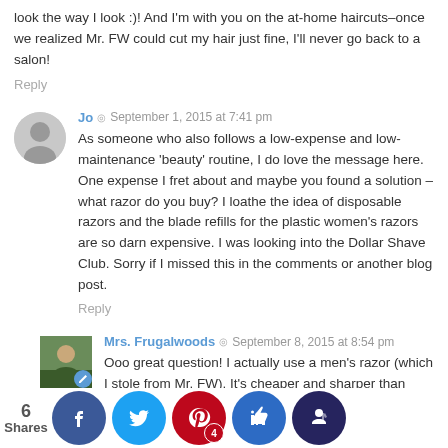look the way I look :)! And I'm with you on the at-home haircuts–once we realized Mr. FW could cut my hair just fine, I'll never go back to a salon!
Reply
Jo  ◎  September 1, 2015 at 7:41 pm
As someone who also follows a low-expense and low-maintenance 'beauty' routine, I do love the message here. One expense I fret about and maybe you found a solution –what razor do you buy? I loathe the idea of disposable razors and the blade refills for the plastic women's razors are so darn expensive. I was looking into the Dollar Shave Club. Sorry if I missed this in the comments or another blog post.
Reply
Mrs. Frugalwoods  ◎  September 8, 2015 at 8:54 pm
Ooo great question! I actually use a men's razor (which I stole from Mr. FW). It's cheaper and sharper than women's razors. The brand is Gillette and we get the refills from Amazon ...gh hon... ...on't ch... ...e bla... ...t often...
6 Shares